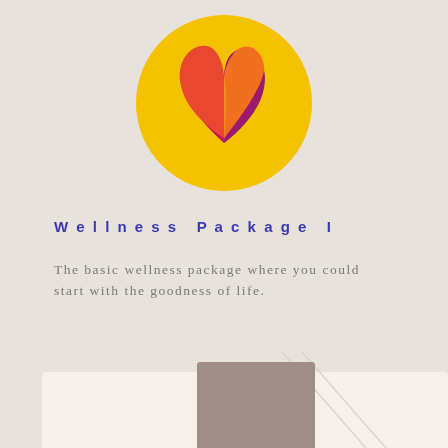[Figure (illustration): A yellow circle containing a stylized heart made of overlapping colored leaf/petal shapes in orange-red, yellow-orange, and deep magenta/purple tones, forming a wellness brand logo.]
Wellness Package I
The basic wellness package where you could start with the goodness of life.
[Figure (illustration): A product card mockup on a light background showing a taupe/mauve rectangular card in the center with a circular badge logo (letters T, B, E, H inside a circle with decorative lines) in white. Behind the card are faint diagonal lines and partial circle outlines suggesting a branded presentation design.]